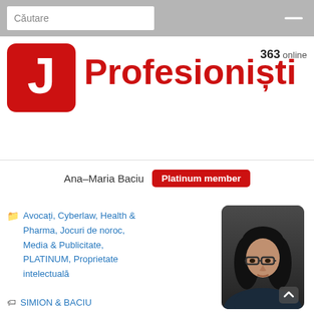Căutare
[Figure (logo): Red rounded square logo with white letter J]
Profesioniști
363 online
Ana–Maria Baciu  Platinum member
[Figure (photo): Profile photo of a woman with dark hair and glasses]
Avocați, Cyberlaw, Health & Pharma, Jocuri de noroc, Media & Publicitate, PLATINUM, Proprietate intelectuală
SIMION & BACIU